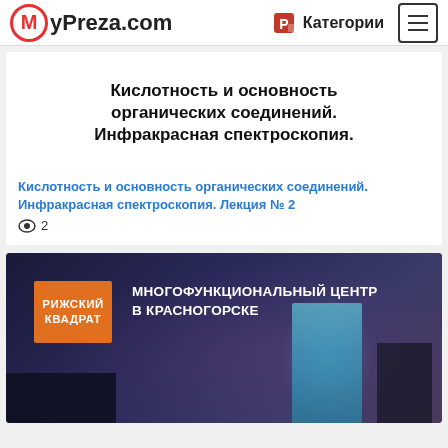MyPreza.com   Категории
[Figure (screenshot): Slide preview showing Russian text: Кислотность и основность органических соединений. Инфракрасная спектроскопия.]
Кислотность и основность органических соединений. Инфракрасная спектроскопия. Лекция № 2
👁 2
[Figure (screenshot): Card for 'Рижский квадрат' - Многофункциональный центр в Красногорске. Shows orange logo with building at night.]